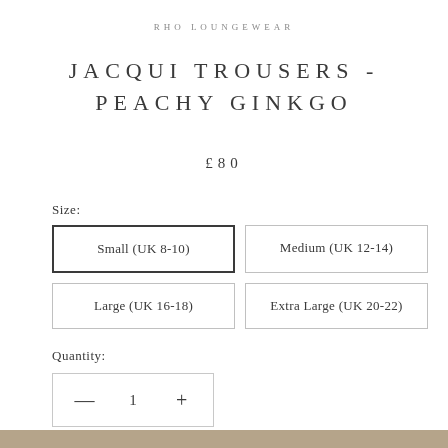RHO LOUNGEWEAR
JACQUI TROUSERS - PEACHY GINKGO
£80
Size:
Small (UK 8-10)
Medium (UK 12-14)
Large (UK 16-18)
Extra Large (UK 20-22)
Quantity:
— 1 +